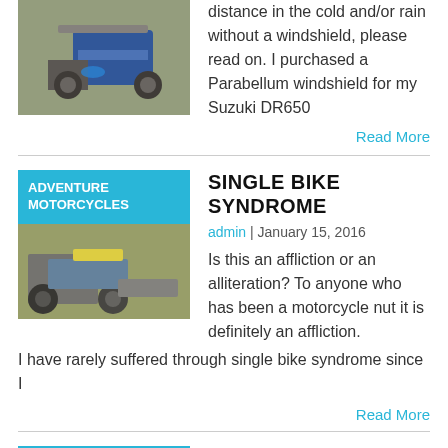[Figure (photo): Motorcycle photo at top left]
distance in the cold and/or rain without a windshield, please read on.  I purchased a Parabellum windshield for my Suzuki DR650
Read More
[Figure (photo): Adventure motorcycle with blue category badge reading ADVENTURE MOTORCYCLES]
SINGLE BIKE SYNDROME
admin  |  January 15, 2016
Is this an affliction or an alliteration?  To anyone who has been a motorcycle nut it is definitely an affliction.  I have rarely suffered through single bike syndrome since I
Read More
[Figure (photo): Dual sport motorcycle with blue category badge reading DUAL SPORT MOTORCYCLES]
THE BEST DUAL SPORT RIDE IN THE EAST?